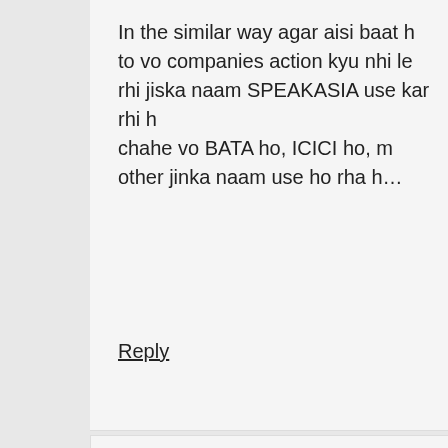In the similar way agar aisi baat h to vo companies action kyu nhi le rhi jiska naam SPEAKASIA use kar rhi h
chahe vo BATA ho, ICICI ho, m other jinka naam use ho rha h…
Reply
[Figure (illustration): Avatar image of a cartoon character (appears to be Patrick Star) with angry expression]
GIREESH KULKARNI says
May 15, 2011 at
9:04 pm